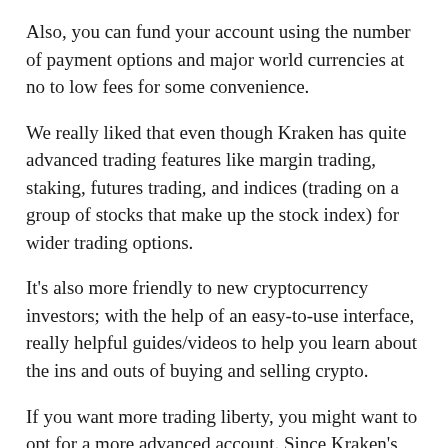Also, you can fund your account using the number of payment options and major world currencies at no to low fees for some convenience.
We really liked that even though Kraken has quite advanced trading features like margin trading, staking, futures trading, and indices (trading on a group of stocks that make up the stock index) for wider trading options.
It's also more friendly to new cryptocurrency investors; with the help of an easy-to-use interface, really helpful guides/videos to help you learn about the ins and outs of buying and selling crypto.
If you want more trading liberty, you might want to opt for a more advanced account. Since Kraken's starter account is quite basic.